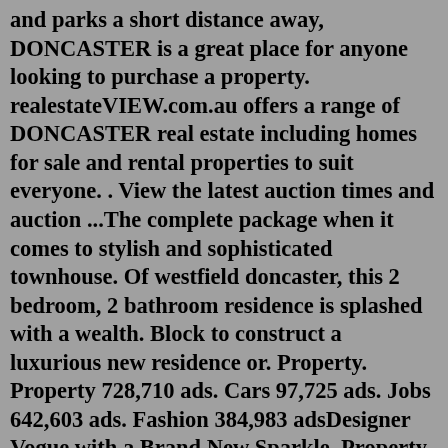and parks a short distance away, DONCASTER is a great place for anyone looking to purchase a property. realestateVIEW.com.au offers a range of DONCASTER real estate including homes for sale and rental properties to suit everyone. . View the latest auction times and auction ...The complete package when it comes to stylish and sophisticated townhouse. Of westfield doncaster, this 2 bedroom, 2 bathroom residence is splashed with a wealth. Block to construct a luxurious new residence or. Property. Property 728,710 ads. Cars 97,725 ads. Jobs 642,603 ads. Fashion 384,983 adsDesigner Vogue with a Brand New Sparkle. Property ID 2748411. *Boasting the similar floorplan, townhouses 2 & 3 are all currently available for sale. Privately nestled within a newly completed and boutique development, this town residence is a revelation of luxurious glamour and outstanding comfort. A thrilling first step onto the property ladder or a money-wise investment, the two bedroom, two ensuite layout is enhanced with the addition of matte black Phoenix tapware and stone...